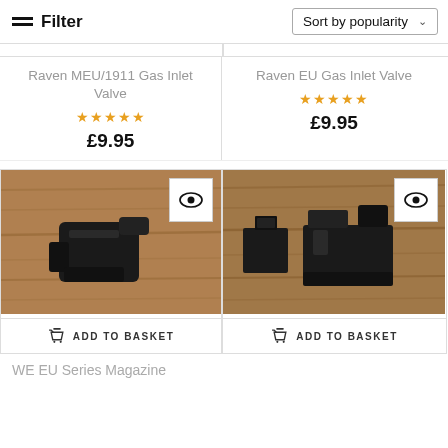Filter | Sort by popularity
Raven MEU/1911 Gas Inlet Valve
☆☆☆☆☆
£9.95
Raven EU Gas Inlet Valve
☆☆☆☆☆
£9.95
[Figure (photo): Black plastic gas inlet valve part on a wooden surface, with eye/quickview icon overlay and ADD TO BASKET button]
[Figure (photo): Two black plastic gas inlet valve parts on a wooden surface, with eye/quickview icon overlay and ADD TO BASKET button]
WE EU Series Magazine